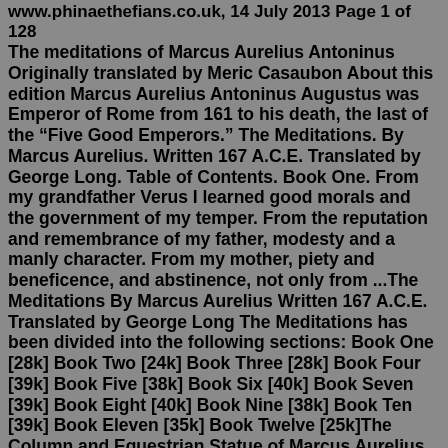www.phinaethefians.co.uk, 14 July 2013 Page 1 of 128
The meditations of Marcus Aurelius Antoninus Originally translated by Meric Casaubon About this edition Marcus Aurelius Antoninus Augustus was Emperor of Rome from 161 to his death, the last of the "Five Good Emperors." The Meditations. By Marcus Aurelius. Written 167 A.C.E. Translated by George Long. Table of Contents. Book One. From my grandfather Verus I learned good morals and the government of my temper. From the reputation and remembrance of my father, modesty and a manly character. From my mother, piety and beneficence, and abstinence, not only from ...The Meditations By Marcus Aurelius Written 167 A.C.E. Translated by George Long The Meditations has been divided into the following sections: Book One [28k] Book Two [24k] Book Three [28k] Book Four [39k] Book Five [38k] Book Six [40k] Book Seven [39k] Book Eight [40k] Book Nine [38k] Book Ten [39k] Book Eleven [35k] Book Twelve [25k]The Column and Equestrian Statue of Marcus Aurelius still stand in Rome, where